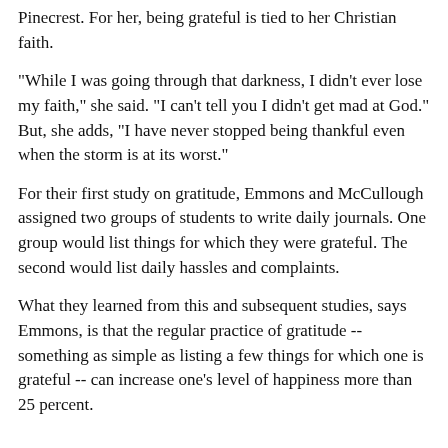Pinecrest. For her, being grateful is tied to her Christian faith.
"While I was going through that darkness, I didn't ever lose my faith," she said. "I can't tell you I didn't get mad at God." But, she adds, "I have never stopped being thankful even when the storm is at its worst."
For their first study on gratitude, Emmons and McCullough assigned two groups of students to write daily journals. One group would list things for which they were grateful. The second would list daily hassles and complaints.
What they learned from this and subsequent studies, says Emmons, is that the regular practice of gratitude -- something as simple as listing a few things for which one is grateful -- can increase one's level of happiness more than 25 percent.